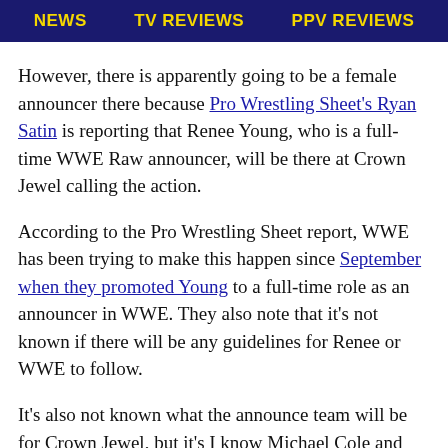NEWS | TV REVIEWS | PPV REVIEWS
However, there is apparently going to be a female announcer there because Pro Wrestling Sheet's Ryan Satin is reporting that Renee Young, who is a full-time WWE Raw announcer, will be there at Crown Jewel calling the action.
According to the Pro Wrestling Sheet report, WWE has been trying to make this happen since September when they promoted Young to a full-time role as an announcer in WWE. They also note that it’s not known if there will be any guidelines for Renee or WWE to follow.
It’s also not known what the announce team will be for Crown Jewel, but it’s I know Michael Cole and Corey Graves have mentioned that they will be there